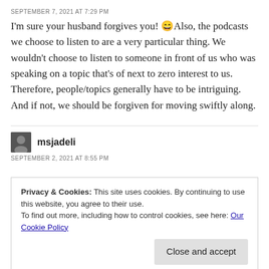SEPTEMBER 7, 2021 AT 7:29 PM
I'm sure your husband forgives you! 😄Also, the podcasts we choose to listen to are a very particular thing. We wouldn't choose to listen to someone in front of us who was speaking on a topic that's of next to zero interest to us. Therefore, people/topics generally have to be intriguing. And if not, we should be forgiven for moving swiftly along.
msjadeli
SEPTEMBER 2, 2021 AT 8:55 PM
Privacy & Cookies: This site uses cookies. By continuing to use this website, you agree to their use.
To find out more, including how to control cookies, see here: Our Cookie Policy
Close and accept
very much is Tommy Morello's Maximum Firepower,